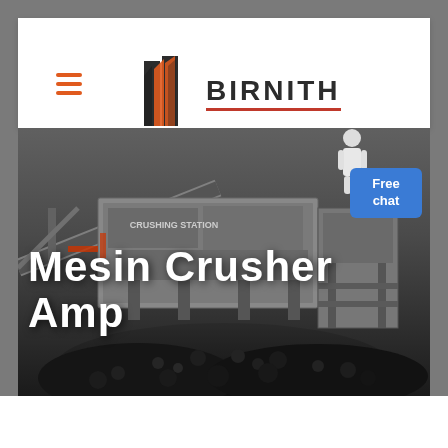[Figure (logo): BIRNITH company logo with orange building/tower icon and red underline beneath the brand name]
[Figure (photo): Industrial mobile crusher and screening station machine with conveyor belts, surrounded by large piles of crushed coal/rock, dark moody background]
Mesin Crusher Amp